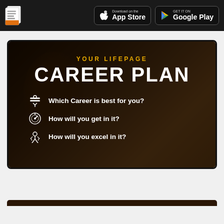Download on the App Store | GET IT ON Google Play
[Figure (infographic): Career plan promotional banner with dark background showing: YOUR LIFEPAGE in gold, CAREER PLAN in large white bold text, and three bullet points: Which Career is best for you?, How will you get in it?, How will you excel in it?]